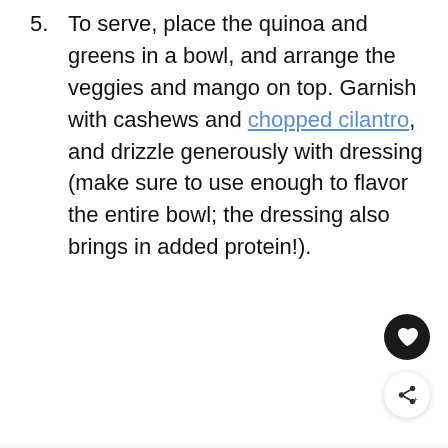5. To serve, place the quinoa and greens in a bowl, and arrange the veggies and mango on top. Garnish with cashews and chopped cilantro, and drizzle generously with dressing (make sure to use enough to flavor the entire bowl; the dressing also brings in added protein!).